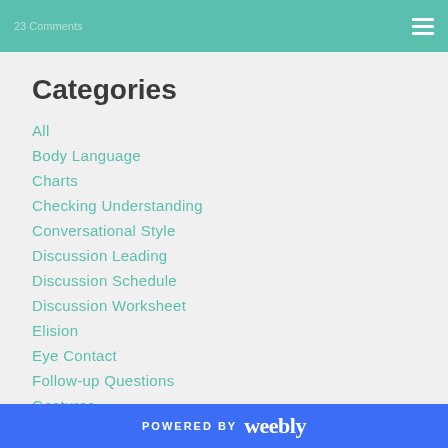23 Comments
Categories
All
Body Language
Charts
Checking Understanding
Conversational Style
Discussion Leading
Discussion Schedule
Discussion Worksheet
Elision
Eye Contact
Follow-up Questions
Gestures
Graphs
Halloween
POWERED BY weebly